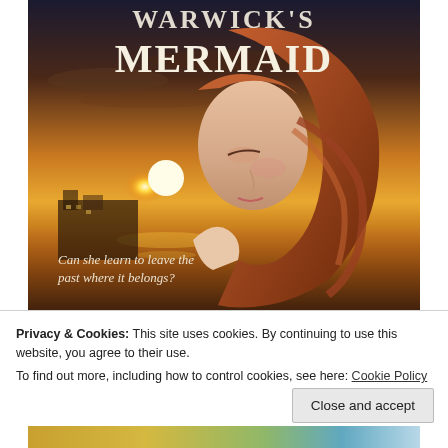[Figure (illustration): Book cover for 'Warwick's Mermaid' showing a red-haired woman looking down against a coastal sunset backdrop with the text 'Can she learn to leave the past where it belongs?' overlaid in italic white text]
Privacy & Cookies: This site uses cookies. By continuing to use this website, you agree to their use.
To find out more, including how to control cookies, see here: Cookie Policy
Close and accept